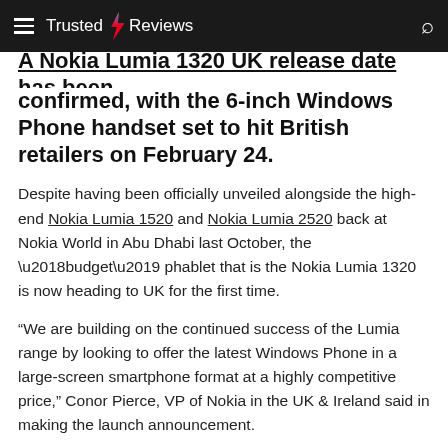Trusted Reviews
A Nokia Lumia 1320 UK release date has been confirmed, with the 6-inch Windows Phone handset set to hit British retailers on February 24.
Despite having been officially unveiled alongside the high-end Nokia Lumia 1520 and Nokia Lumia 2520 back at Nokia World in Abu Dhabi last October, the ‘budget’ phablet that is the Nokia Lumia 1320 is now heading to UK for the first time.
“We are building on the continued success of the Lumia range by looking to offer the latest Windows Phone in a large-screen smartphone format at a highly competitive price,” Conor Pierce, VP of Nokia in the UK & Ireland said in making the launch announcement.
He added: “The Nokia Lumia 1320 brings a cost effective